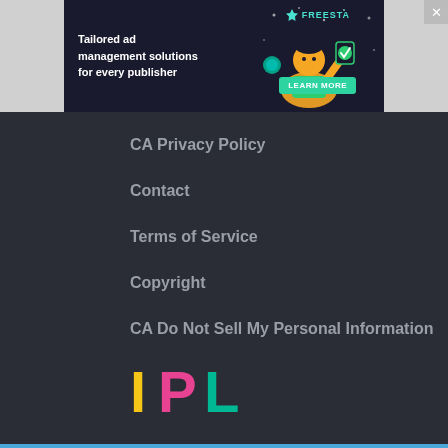[Figure (screenshot): Advertisement banner for Freestar: 'Tailored ad management solutions for every publisher' with dark background, animated character graphic, Freestar logo, and green Learn More button. Has an X close button.]
CA Privacy Policy
Contact
Terms of Service
Copyright
CA Do Not Sell My Personal Information
[Figure (logo): IPL logo with colorful letters: I in yellow, P in pink/red, L in teal/green]
Get Access